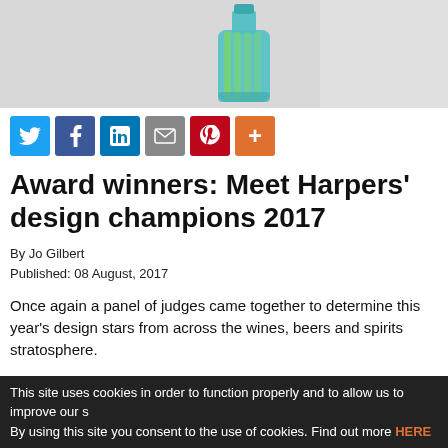[Figure (photo): Product photo of a teal/turquoise glass bottle with green interior against a light grey background]
[Figure (infographic): Social media share buttons: Twitter (blue), Facebook (dark blue), LinkedIn (blue), Email (grey), Pinterest (red), Plus/More (orange)]
Award winners: Meet Harpers' design champions 2017
By Jo Gilbert
Published:  08 August, 2017
Once again a panel of judges came together to determine this year's design stars from across the wines, beers and spirits stratosphere.
Harpers Design Awards 2017 saw the new, the subtle and the bold sit side by side, showcasing some of the true creativity of the
This site uses cookies in order to function properly and to allow us to improve our s By using this site you consent to the use of cookies. Find out more HERE